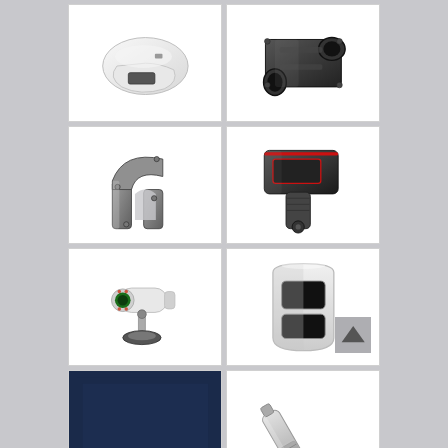[Figure (photo): White plastic housing/cradle with opening slot, top view]
[Figure (photo): Dark metal automotive intake manifold or air flow meter component with cylindrical port]
[Figure (photo): Silver-grey cast metal engine bracket or structural automotive component]
[Figure (photo): Dark metal handheld device housing with red-trimmed display window and pistol grip]
[Figure (photo): White bullet surveillance camera on adjustable mounting bracket with base]
[Figure (photo): White dual-lens PIR motion sensor housing with two black sensor windows]
[Figure (photo): Dark navy/black solid colored panel or component]
[Figure (photo): Silver metallic cylindrical pen-like device or probe instrument]